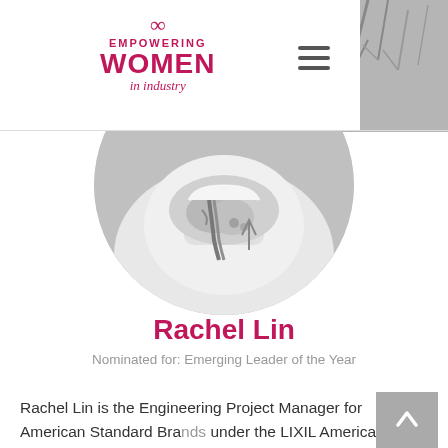[Figure (logo): Empowering Women in Industry logo with infinity symbol]
[Figure (photo): Black and white circular portrait photo of Rachel Lin wearing a patterned scarf/garment, with outdoor background]
Rachel Lin
Nominated for: Emerging Leader of the Year
Rachel Lin is the Engineering Project Manager for American Standard Brands under the LIXIL Americas division. In her role, Rachel spearheads new product development, aggressively working under tight deadlines and driving growth for her group. She also optimized the